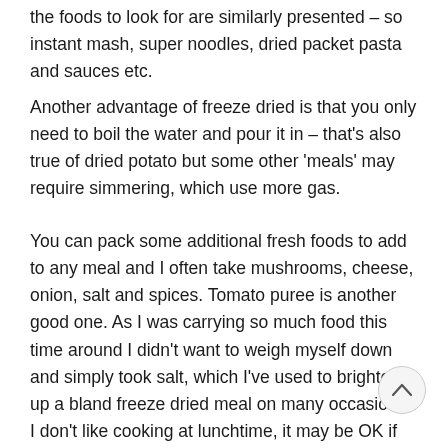the foods to look for are similarly presented – so instant mash, super noodles, dried packet pasta and sauces etc.
Another advantage of freeze dried is that you only need to boil the water and pour it in – that's also true of dried potato but some other 'meals' may require simmering, which use more gas.
You can pack some additional fresh foods to add to any meal and I often take mushrooms, cheese, onion, salt and spices. Tomato puree is another good one. As I was carrying so much food this time around I didn't want to weigh myself down and simply took salt, which I've used to brighten up a bland freeze dried meal on many occasions. I don't like cooking at lunchtime, it may be OK if the weather's great if it's raining I don't want to be faffing on with a stove etc.